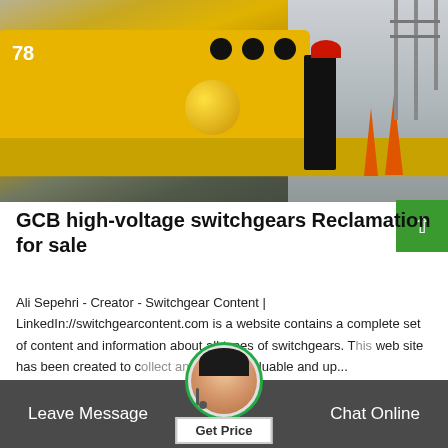[Figure (photo): Outdoor industrial scene showing a yellow high-voltage switchgear service truck (numbered 78) with equipment on a flatbed ramp, a worker in black jacket and red hard hat standing nearby, orange safety cones in background, power lines/substation visible in distance.]
GCB high-voltage switchgears Reclamation for sale
Ali Sepehri - Creator - Switchgear Content | LinkedIn://switchgearcontent.com is a website contains a complete set of content and information about all types of switchgears. This web site has been created to collect and publish valuable and up...